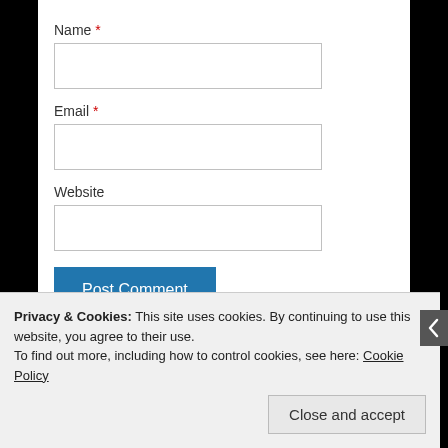Name *
Email *
Website
Post Comment
Notify me of new comments via email.
Privacy & Cookies: This site uses cookies. By continuing to use this website, you agree to their use.
To find out more, including how to control cookies, see here: Cookie Policy
Close and accept